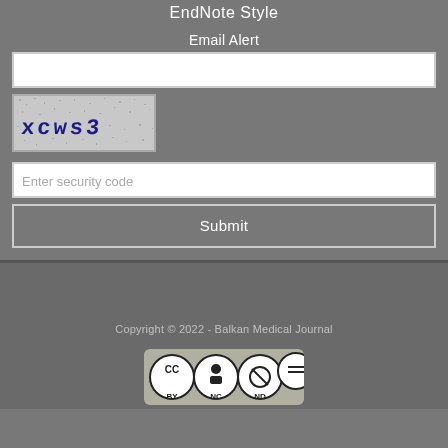EndNote Style
Email Alert
[Figure (other): Email input text field (white rectangle)]
[Figure (other): CAPTCHA image showing distorted text 'xcws3' on noisy background]
[Figure (other): Security code input text field with placeholder 'Enter security code']
[Figure (other): Submit button]
Copyright © 2022 - Balkan Medical Journal
[Figure (other): Creative Commons CC BY-NC-ND license badge]